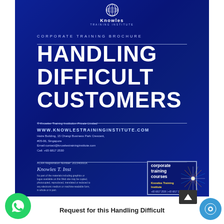[Figure (logo): Knowles Training Institute globe logo and text]
CORPORATE TRAINING BROCHURE
HANDLING DIFFICULT CUSTOMERS
© Knowles Training Institution Private Limited.
WWW.KNOWLESTRAININGINSTITUTE.COM
Haire Building, 15 Changi Business Park Crescent, #05-06, Singapore
Email:contact@knowlestraininginstitute.com
Call: +65 6817 2530
ACRA Registration Number: 201540991K
Knowles T. Inst
No part of the materials including graphics or logos available on this Web site may be copied, photocopied, reproduced, translated or reduced to any electronic medium or machine-readable form, in whole or in part.
[Figure (infographic): Corporate training courses box with Knowles Training Institute branding]
[Figure (illustration): Sparkle/firework decorative element]
Copyright © and Knowles Training Institute. All rights reserved.
Unless otherwise indicated, all materials on these pages are copyrighted by KNOWLES TRAINING INSTITUTE. All rights reserved. No part of these pages, either text or image may be used for any purpose other than personal use. Therefore, reproduction, modification, storage in a retrieval system or retransmission, in any form or by any means, electronic, mechanical or otherwise, for reasons other than personal use, is strictly prohibited without prior written permission.
Request for this Handling Difficult